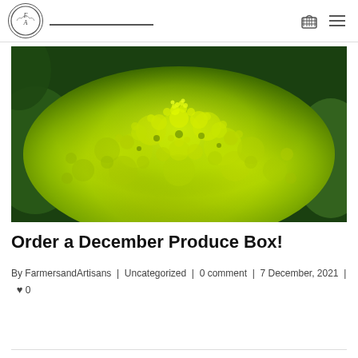FA logo, search bar, basket icon, menu icon
[Figure (photo): Close-up photo of a bright yellow-green romanesco broccoli/cauliflower head with fractal spiral florets, with dark green leaves visible at edges]
Order a December Produce Box!
By FarmersandArtisans | Uncategorized | 0 comment | 7 December, 2021 | ♥ 0